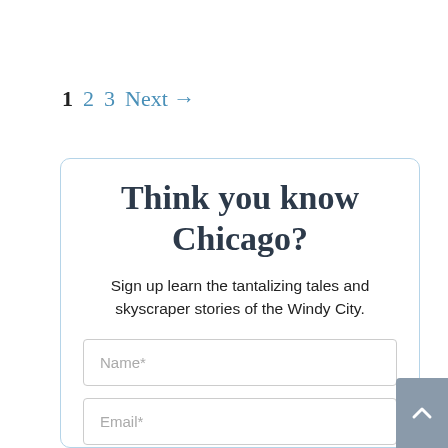1  2  3  Next →
Think you know Chicago?
Sign up learn the tantalizing tales and skyscraper stories of the Windy City.
Name*
Email*
SHOW ME CHICAGO!